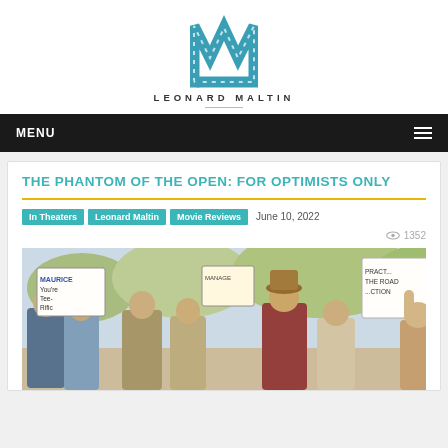[Figure (logo): Leonard Maltin website logo — stylized teal M with film strip dashes, site name LEONARD MALTIN below in spaced uppercase letters]
MENU
THE PHANTOM OF THE OPEN: FOR OPTIMISTS ONLY
In Theaters   Leonard Maltin   Movie Reviews   June 10, 2022
1352
[Figure (photo): Movie still from The Phantom of the Open: group of cheerful people holding signs reading 'Maurice You're Tee-Rific' and 'PRACTICE THE ROAD ACTION', celebrating outdoors]